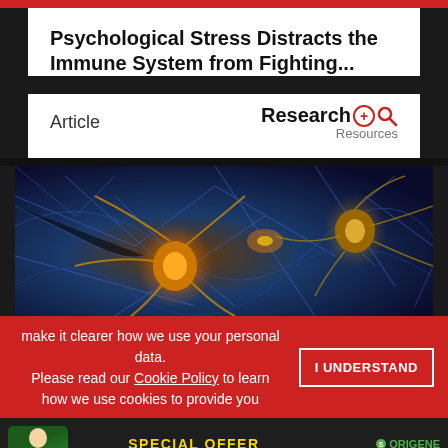Psychological Stress Distracts the Immune System from Fighting...
Article
[Figure (logo): Research+ Resources logo with magnifying glass icon]
[Figure (photo): Close-up scientific illustration of neurons/nerve cells with blue and gold colors, glowing connections]
make it clearer how we use your personal data. Please read our Cookie Policy to learn how we use cookies to provide you
I UNDERSTAND
[Figure (infographic): OriGene advertisement banner: SPECIAL OFFER - Primary Antibody Samples 30 ul for $99/€99 with LEARN MORE button]
ADVERTISEMENT